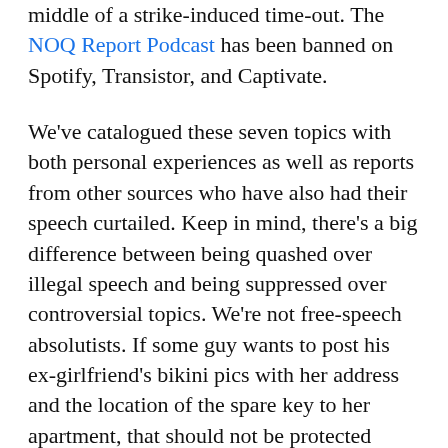middle of a strike-induced time-out. The NOQ Report Podcast has been banned on Spotify, Transistor, and Captivate.
We've catalogued these seven topics with both personal experiences as well as reports from other sources who have also had their speech curtailed. Keep in mind, there's a big difference between being quashed over illegal speech and being suppressed over controversial topics. We're not free-speech absolutists. If some guy wants to post his ex-girlfriend's bikini pics with her address and the location of the spare key to her apartment, that should not be protected speech. The suppression we've experienced is over ideas that have been deemed too dangerous because they question the mainstream narrative.